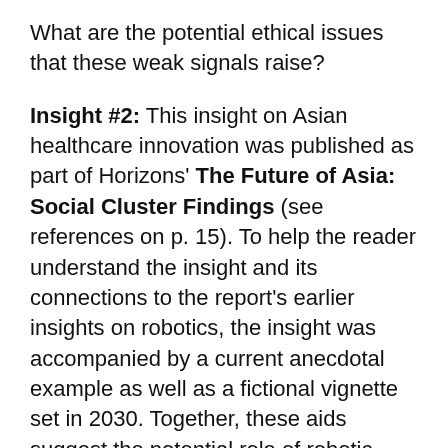What are the potential ethical issues that these weak signals raise?
Insight #2: This insight on Asian healthcare innovation was published as part of Horizons' The Future of Asia: Social Cluster Findings (see references on p. 15). To help the reader understand the insight and its connections to the report's earlier insights on robotics, the insight was accompanied by a current anecdotal example as well as a fictional vignette set in 2030. Together, these aids suggest the potential role of robotic companions in both the present and future of eldercare in Asia.
INSIGHT: Roaming Asian Research for...